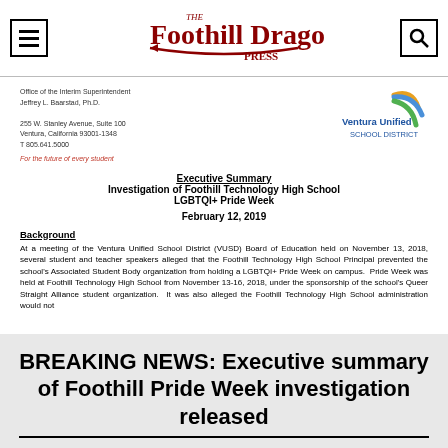[Figure (logo): The Foothill Dragon Press masthead logo with dragon graphic in dark red/maroon]
Office of the Interim Superintendent
Jeffrey L. Baarstad, Ph.D.

255 W. Stanley Avenue, Suite 100
Ventura, California 93001-1348
T 805.641.5000

For the future of every student
[Figure (logo): Ventura Unified School District logo with colorful arc graphic]
Executive Summary
Investigation of Foothill Technology High School
LGBTQI+ Pride Week
February 12, 2019
Background
At a meeting of the Ventura Unified School District (VUSD) Board of Education held on November 13, 2018, several student and teacher speakers alleged that the Foothill Technology High School Principal prevented the school's Associated Student Body organization from holding a LGBTQI+ Pride Week on campus. Pride Week was held at Foothill Technology High School from November 13-16, 2018, under the sponsorship of the school's Queer Straight Alliance student organization. It was also alleged the Foothill Technology High School administration would not
BREAKING NEWS: Executive summary of Foothill Pride Week investigation released